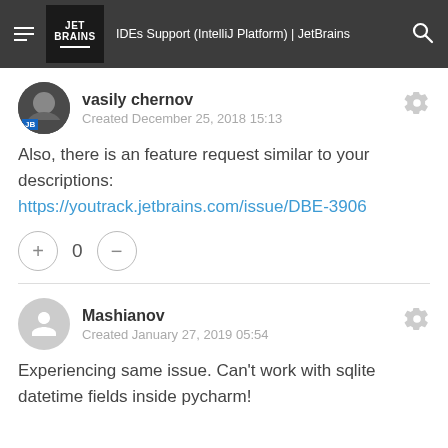IDEs Support (IntelliJ Platform) | JetBrains
vasily chernov
Created December 25, 2018 15:13
Also, there is an feature request similar to your descriptions:
https://youtrack.jetbrains.com/issue/DBE-3906
Mashianov
Created January 27, 2019 05:54
Experiencing same issue. Can't work with sqlite datetime fields inside pycharm!